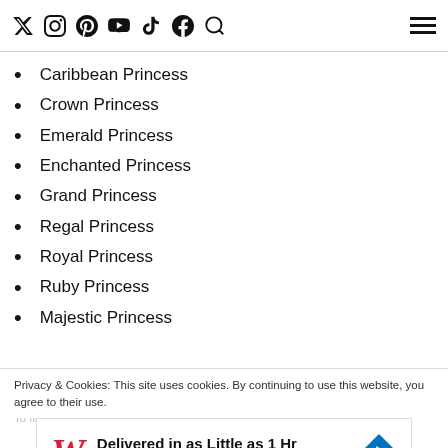Social media navigation icons and hamburger menu
Princess Cruises ships and which was first introduced on board Princess and the Crown's signature steakhouse featured on board:
Caribbean Princess
Crown Princess
Emerald Princess
Enchanted Princess
Grand Princess
Regal Princess
Royal Princess
Ruby Princess
Majestic Princess
Privacy & Cookies: This site uses cookies. By continuing to use this website, you agree to their use.
[Figure (other): Walgreens Photo advertisement: Delivered in as Little as 1 Hr, Walgreens Photo, with Walgreens W logo and blue diamond arrow icon]